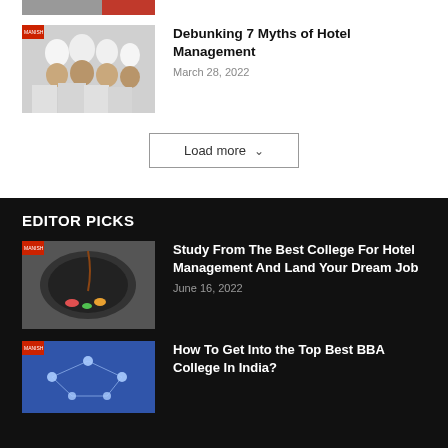[Figure (photo): Partial image at top, cut off — appears to show people in a vehicle with red elements]
[Figure (photo): Group of chefs in white uniforms and tall chef hats smiling together with food]
Debunking 7 Myths of Hotel Management
March 28, 2022
Load more
EDITOR PICKS
[Figure (photo): Food being plated, dark cooking pan, liquid drizzle, colorful vegetables on dark plate]
Study From The Best College For Hotel Management And Land Your Dream Job
June 16, 2022
[Figure (photo): Technology themed image with blue background and network/connectivity graphics]
How To Get Into the Top Best BBA College In India?